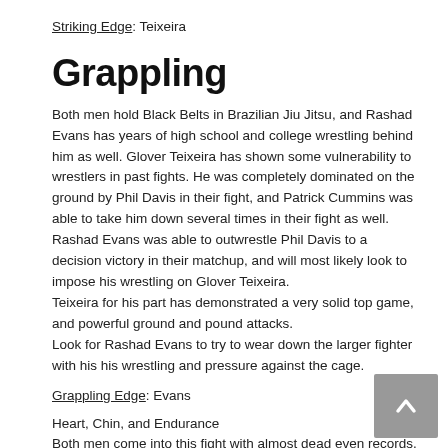Striking Edge: Teixeira
Grappling
Both men hold Black Belts in Brazilian Jiu Jitsu, and Rashad Evans has years of high school and college wrestling behind him as well. Glover Teixeira has shown some vulnerability to wrestlers in past fights. He was completely dominated on the ground by Phil Davis in their fight, and Patrick Cummins was able to take him down several times in their fight as well. Rashad Evans was able to outwrestle Phil Davis to a decision victory in their matchup, and will most likely look to impose his wrestling on Glover Teixeira.
Teixeira for his part has demonstrated a very solid top game, and powerful ground and pound attacks.
Look for Rashad Evans to try to wear down the larger fighter with his his wrestling and pressure against the cage.
Grappling Edge: Evans
Heart, Chin, and Endurance
Both men come into this fight with almost dead even records. Rashad has only one loss by KO or stoppage to Lyoto Machida, while Glover's last loss by stoppage was his first fight in 2002.
I expect Rashad Evans to have a slight edge in endurance, however I